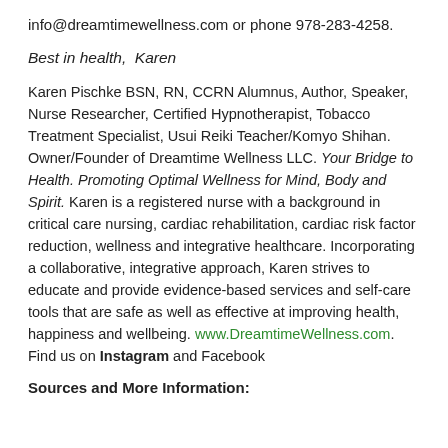info@dreamtimewellness.com or phone 978-283-4258.
Best in health,  Karen
Karen Pischke BSN, RN, CCRN Alumnus, Author, Speaker, Nurse Researcher, Certified Hypnotherapist, Tobacco Treatment Specialist, Usui Reiki Teacher/Komyo Shihan. Owner/Founder of Dreamtime Wellness LLC. Your Bridge to Health. Promoting Optimal Wellness for Mind, Body and Spirit. Karen is a registered nurse with a background in critical care nursing, cardiac rehabilitation, cardiac risk factor reduction, wellness and integrative healthcare. Incorporating a collaborative, integrative approach, Karen strives to educate and provide evidence-based services and self-care tools that are safe as well as effective at improving health, happiness and wellbeing. www.DreamtimeWellness.com. Find us on Instagram and Facebook
Sources and More Information: